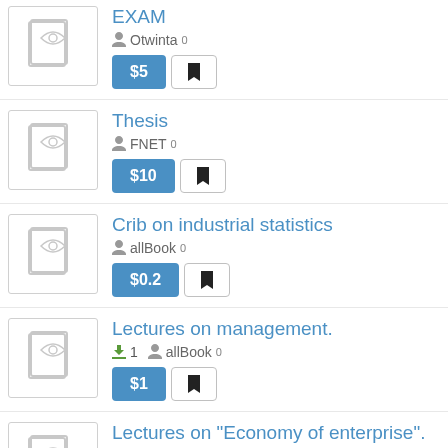EXAM - Otwinta 0 - $5
Thesis - FNET 0 - $10
Crib on industrial statistics - allBook 0 - $0.2
Lectures on management. - 1 download - allBook 0 - $1
Lectures on "Economy of enterprise". - 9 downloads - allBook 0